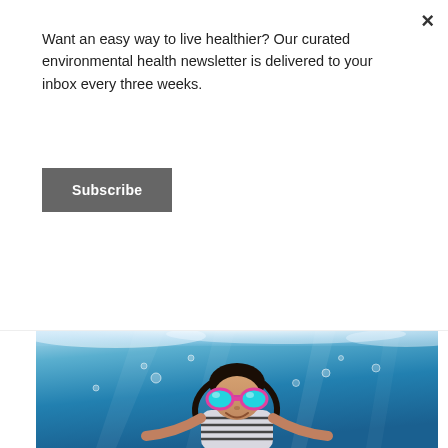Your Summer Guide to Water Safety
How to Promote Fun and Prevent Drowning
[Figure (photo): Underwater photo of a smiling child wearing pink and teal swimming goggles and a striped swimsuit, submerged in a bright blue swimming pool with bubbles and water splash visible around them.]
Want an easy way to live healthier? Our curated environmental health newsletter is delivered to your inbox every three weeks.
Subscribe